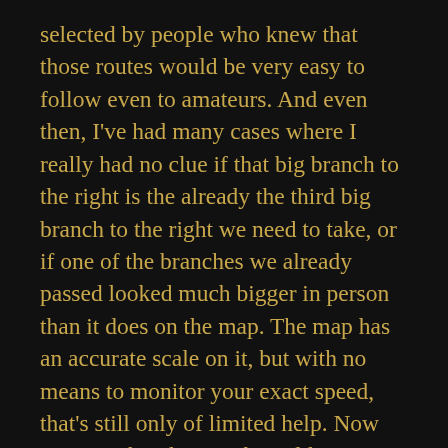selected by people who knew that those routes would be very easy to follow even to amateurs. And even then, I've had many cases where I really had no clue if that big branch to the right is the already the third big branch to the right we need to take, or if one of the branches we already passed looked much bigger in person than it does on the map. The map has an accurate scale on it, but with no means to monitor your exact speed, that's still only of limited help. Now imagine that deep in the wilderness, following a map drawn by someone with no access to aerial photography or surveying tools.
In my rivercrawl campaign, going to a site will